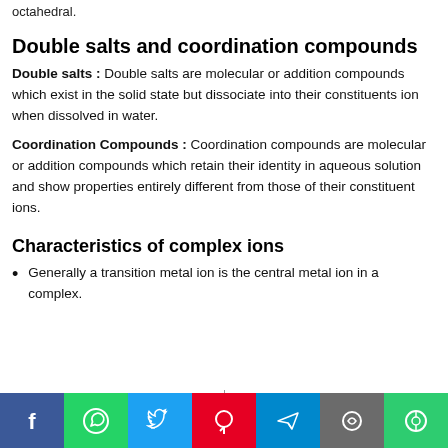octahedral.
Double salts and coordination compounds
Double salts : Double salts are molecular or addition compounds which exist in the solid state but dissociate into their constituents ion when dissolved in water.
Coordination Compounds : Coordination compounds are molecular or addition compounds which retain their identity in aqueous solution and show properties entirely different from those of their constituent ions.
Characteristics of complex ions
Generally a transition metal ion is the central metal ion in a complex.